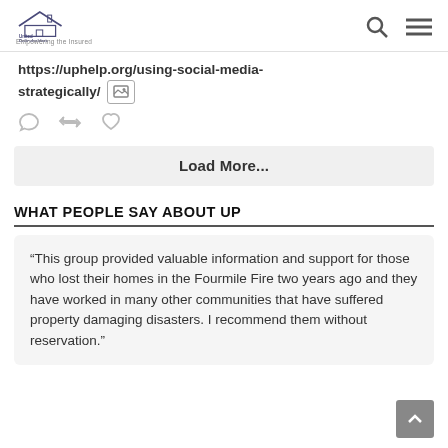United Policyholders — Empowering the Insured
https://uphelp.org/using-social-media-strategically/ [image icon] [tweet action icons]
Load More...
WHAT PEOPLE SAY ABOUT UP
“This group provided valuable information and support for those who lost their homes in the Fourmile Fire two years ago and they have worked in many other communities that have suffered property damaging disasters. I recommend them without reservation.”